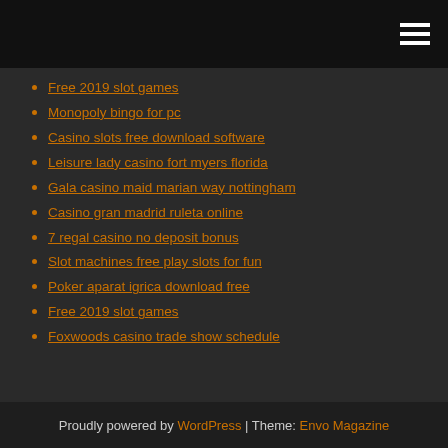Free 2019 slot games
Monopoly bingo for pc
Casino slots free download software
Leisure lady casino fort myers florida
Gala casino maid marian way nottingham
Casino gran madrid ruleta online
7 regal casino no deposit bonus
Slot machines free play slots for fun
Poker aparat igrica download free
Free 2019 slot games
Foxwoods casino trade show schedule
Proudly powered by WordPress | Theme: Envo Magazine